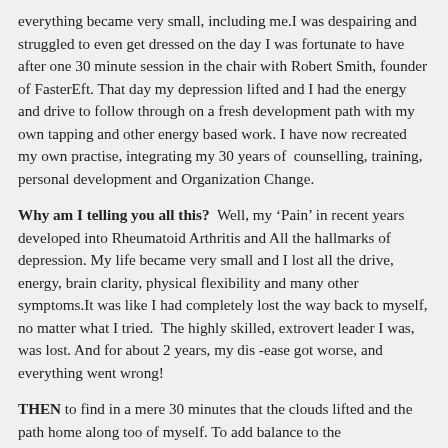everything became very small, including me.I was despairing and struggled to even get dressed on the day I was fortunate to have  after one 30 minute session in the chair with Robert Smith, founder of FasterEft. That day my depression lifted and I had the energy and drive to follow through on a fresh development path with my own tapping and other energy based work. I have now recreated  my own practise, integrating my 30 years of  counselling, training, personal development and Organization Change.
Why am I telling you all this?  Well, my ‘Pain’ in recent years developed into Rheumatoid Arthritis and All the hallmarks of depression. My life became very small and I lost all the drive, energy, brain clarity, physical flexibility and many other symptoms.It was like I had completely lost the way back to myself, no matter what I tried.  The highly skilled, extrovert leader I was, was lost. And for about 2 years, my dis -ease got worse, and  everything went wrong!
THEN to find in a mere 30 minutes that the clouds lifted and the path home along too of myself. To add balance to the...